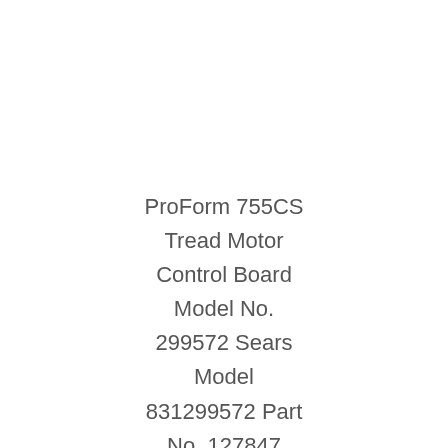ProForm 755CS Tread Motor Control Board Model No. 299572 Sears Model 831299572 Part No. 127847 $119.99